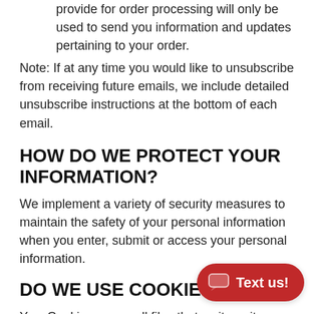provide for order processing will only be used to send you information and updates pertaining to your order.
Note: If at any time you would like to unsubscribe from receiving future emails, we include detailed unsubscribe instructions at the bottom of each email.
HOW DO WE PROTECT YOUR INFORMATION?
We implement a variety of security measures to maintain the safety of your personal information when you enter, submit or access your personal information.
DO WE USE COOKIES?
Yes. Cookies are small files that a site or its service provider transfers to your computer's hard drive